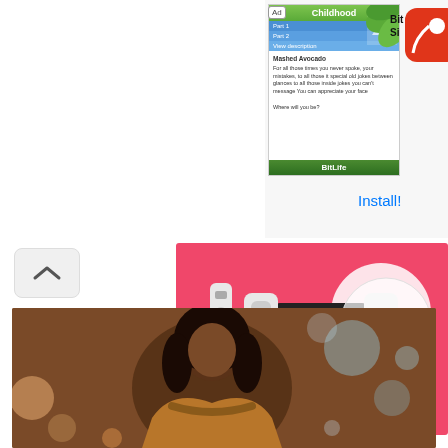[Figure (screenshot): Advertisement banner showing BitLife game app with childhood game card and app logo]
Install!
[Figure (photo): Nintendo Switch gaming console advertisement on pink background]
[Figure (photo): Portrait photo of a young woman in a caramel coat with fur collar, bokeh city lights background]